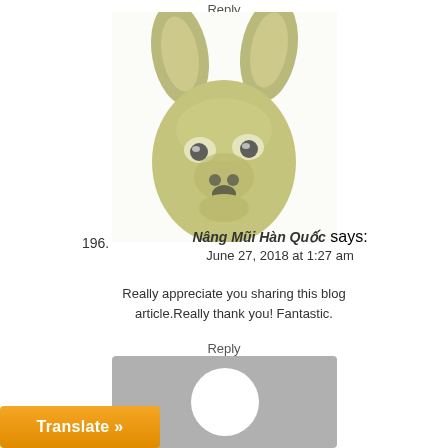Reply
[Figure (photo): A blurry yellow-green animal face with large ears, wide eyes, and open mouth, resembling a meme animal avatar.]
196.
Nâng Mũi Hàn Quốc says:
June 27, 2018 at 1:27 am
Really appreciate you sharing this blog article.Really thank you! Fantastic.
Reply
[Figure (illustration): Gray square avatar placeholder with a white circle in the center.]
Translate »